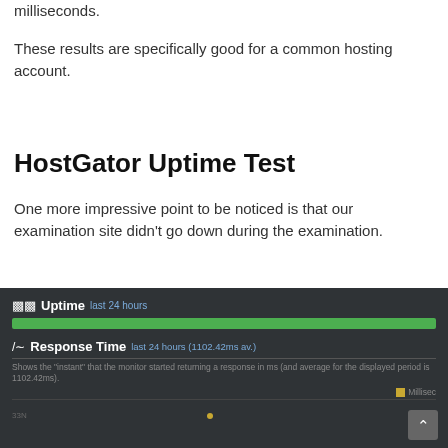milliseconds.
These results are specifically good for a common hosting account.
HostGator Uptime Test
One more impressive point to be noticed is that our examination site didn't go down during the examination.
[Figure (screenshot): Uptime monitoring dashboard screenshot showing 'Uptime last 24 hours' with a full green bar, and 'Response Time last 24 hours (1102.42ms av.)' with a note: 'Shows the instant that the monitor started returning a response in ms (and average for the displayed period is 1102.42ms)'. A yellow dot marker and legend labeled 'Millisec' are shown. A scroll-to-top button appears at the bottom right.]